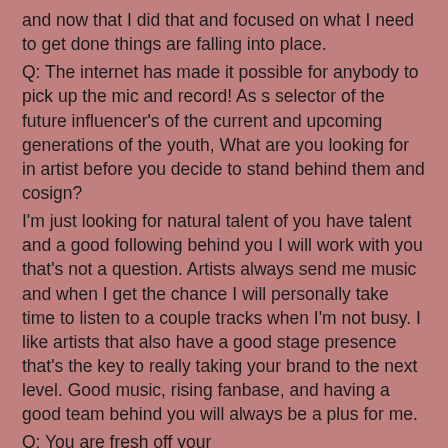and now that I did that and focused on what I need to get done things are falling into place.
Q: The internet has made it possible for anybody to pick up the mic and record! As s selector of the future influencer's of the current and upcoming generations of the youth, What are you looking for in artist before you decide to stand behind them and cosign?
I'm just looking for natural talent of you have talent and a good following behind you I will work with you that's not a question. Artists always send me music and when I get the chance I will personally take time to listen to a couple tracks when I'm not busy. I like artists that also have a good stage presence that's the key to really taking your brand to the next level. Good music, rising fanbase, and having a good team behind you will always be a plus for me.
Q: You are fresh off your #STAYCONNECTEDTOUR  Whats the details on this. How has it been? Is this your first tour that you've set up yourself?